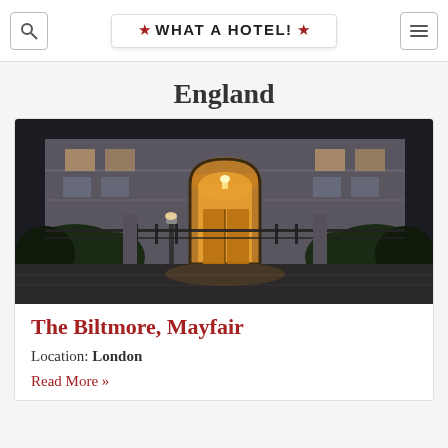What a Hotel!
England
[Figure (photo): Nighttime exterior photograph of The Biltmore, Mayfair hotel entrance. Shows a grand Neoclassical building facade with a lit arched entrance doorway, iron gates, ornamental shrubs, and a street lamp.]
The Biltmore, Mayfair
Location: London
Read More »